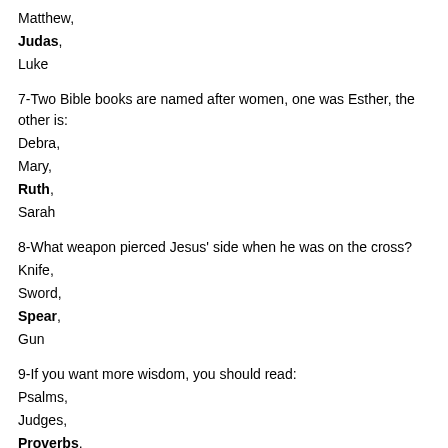Matthew,
Judas,
Luke
7-Two Bible books are named after women, one was Esther, the other is:
Debra,
Mary,
Ruth,
Sarah
8-What weapon pierced Jesus' side when he was on the cross?
Knife,
Sword,
Spear,
Gun
9-If you want more wisdom, you should read:
Psalms,
Judges,
Proverbs,
Ruth
10-In what city was the lion's den where Daniel was cast?
Babylon,